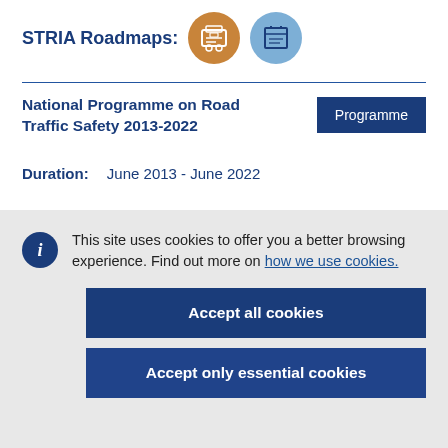STRIA Roadmaps:
National Programme on Road Traffic Safety 2013-2022
Programme
Duration: June 2013 - June 2022
This site uses cookies to offer you a better browsing experience. Find out more on how we use cookies.
Accept all cookies
Accept only essential cookies